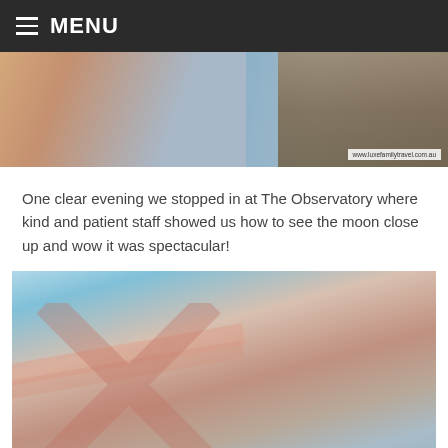MENU
[Figure (photo): Close-up photo of a hand holding a small object against a beach/ocean backdrop with rope visible on the right side. Watermark reads: www.luxefamilytravel.com.au]
One clear evening we stopped in at The Observatory where kind and patient staff showed us how to see the moon close up and wow it was spectacular!
[Figure (photo): Photo of a woman in a black swimsuit smiling with two children on a boat, with turquoise water and blue sky visible in the background. The boat has pink/salmon coloring.]